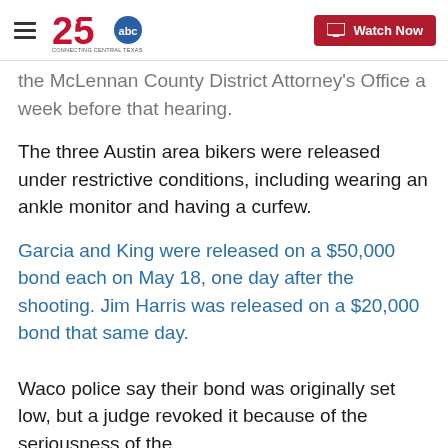KXXV 25 ABC - Connecting Central Texas | Watch Now
the McLennan County District Attorney's Office a week before that hearing.
The three Austin area bikers were released under restrictive conditions, including wearing an ankle monitor and having a curfew.
Garcia and King were released on a $50,000 bond each on May 18, one day after the shooting. Jim Harris was released on a $20,000 bond that same day.
Waco police say their bond was originally set low, but a judge revoked it because of the seriousness of the